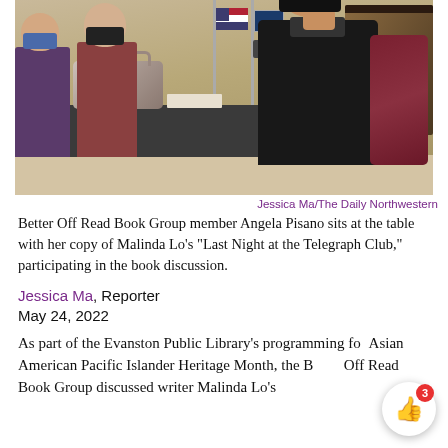[Figure (photo): Three people wearing face masks sit at a dark table in a room with flags and a piano. The person on the right is in focus wearing a black jacket. A purse and book are on the table.]
Jessica Ma/The Daily Northwestern
Better Off Read Book Group member Angela Pisano sits at the table with her copy of Malinda Lo’s “Last Night at the Telegraph Club,” participating in the book discussion.
Jessica Ma, Reporter
May 24, 2022
As part of the Evanston Public Library’s programming for Asian American Pacific Islander Heritage Month, the Better Off Read Book Group discussed writer Malinda Lo’s